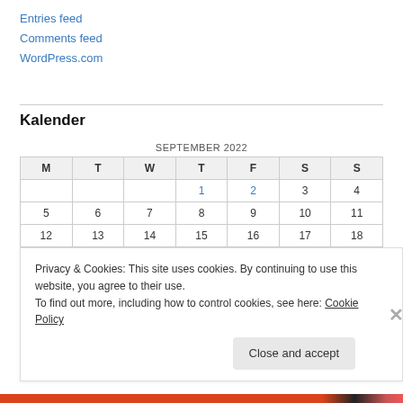Entries feed
Comments feed
WordPress.com
Kalender
| M | T | W | T | F | S | S |
| --- | --- | --- | --- | --- | --- | --- |
|  |  |  | 1 | 2 | 3 | 4 |
| 5 | 6 | 7 | 8 | 9 | 10 | 11 |
| 12 | 13 | 14 | 15 | 16 | 17 | 18 |
| 19 | 20 | 21 | 22 | 23 | 24 | 25 |
Privacy & Cookies: This site uses cookies. By continuing to use this website, you agree to their use.
To find out more, including how to control cookies, see here: Cookie Policy